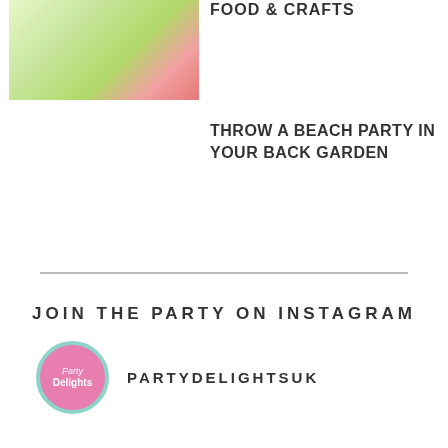[Figure (photo): Colorful party table with tropical themed food, cupcakes, kiwi slices, and decorations]
FOOD & CRAFTS
THROW A BEACH PARTY IN YOUR BACK GARDEN
JOIN THE PARTY ON INSTAGRAM
[Figure (logo): Party Delights circular logo with pink background and teal border]
PARTYDELIGHTSUK